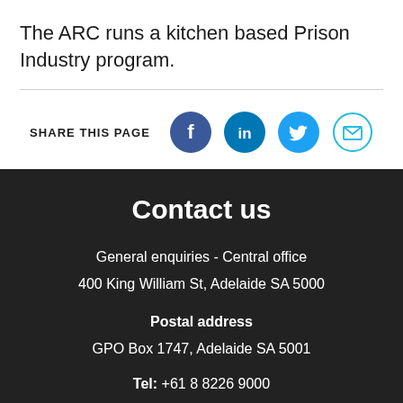The ARC runs a kitchen based Prison Industry program.
SHARE THIS PAGE
Contact us
General enquiries - Central office
400 King William St, Adelaide SA 5000
Postal address
GPO Box 1747, Adelaide SA 5001
Tel: +61 8 8226 9000